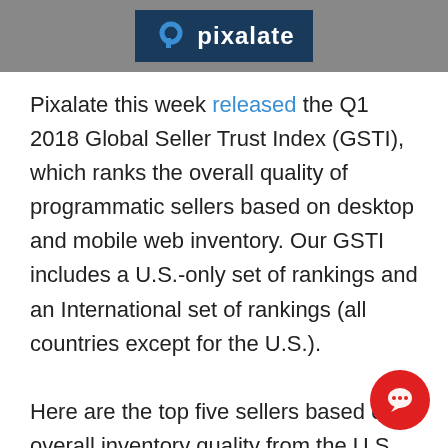pixalate
Pixalate this week released the Q1 2018 Global Seller Trust Index (GSTI), which ranks the overall quality of programmatic sellers based on desktop and mobile web inventory. Our GSTI includes a U.S.-only set of rankings and an International set of rankings (all countries except for the U.S.).
Here are the top five sellers based on overall inventory quality from the U.S.